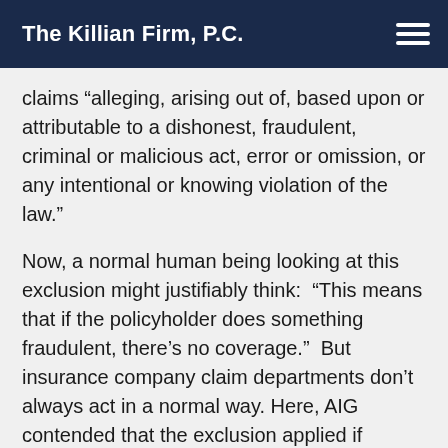The Killian Firm, P.C.
claims “alleging, arising out of, based upon or attributable to a dishonest, fraudulent, criminal or malicious act, error or omission, or any intentional or knowing violation of the law.”
Now, a normal human being looking at this exclusion might justifiably think: “This means that if the policyholder does something fraudulent, there’s no coverage.” But insurance company claim departments don’t always act in a normal way. Here, AIG contended that the exclusion applied if anyone committed fraud – even if that “anyone” was outside of the policyholder’s control.
Think about the precarious situation into which this